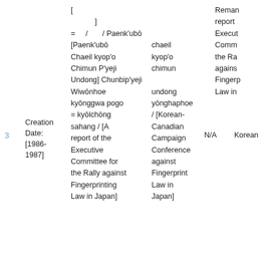| Row | Creation Date | Main Title | Alt Title | Language | Remarks |
| --- | --- | --- | --- | --- | --- |
| 3 | [1986-1987] | [
]
= / / Paenk'ubō [Paenk'ubō chaeil Chaeil kyop'o kyop'o Chimun P'yeji chimun Undong] Chunbip'yeji Wiwōnhoe undong kyōnggwa pogo yōnghaphoe = kyōlchōng / [Korean-Canadian Campaign Conference sahang / [A report of the Executive Committee for the Rally against Fingerprinting Fingerprinting Law in Japan] Law in Japan] | N/A | Korean | Remark report Execut Comm the Ra agains Fingerp Law in |